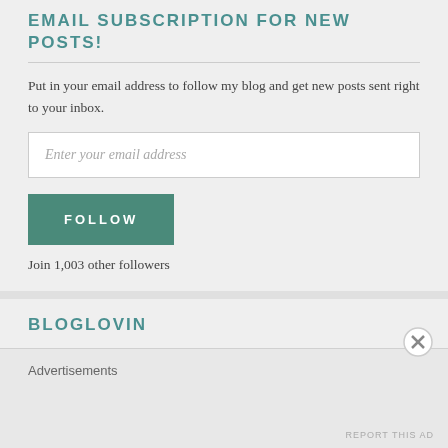EMAIL SUBSCRIPTION FOR NEW POSTS!
Put in your email address to follow my blog and get new posts sent right to your inbox.
Enter your email address
FOLLOW
Join 1,003 other followers
BLOGLOVIN
Advertisements